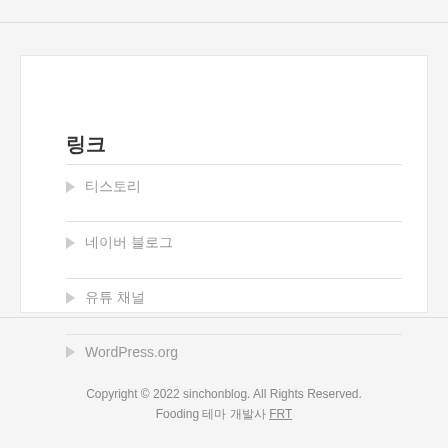링크
▶ 티스토리
▶ 네이버 블로그
▶ 유튜 채널
▶ WordPress.org
Copyright © 2022 sinchonblog. All Rights Reserved.
Fooding 테마 개발사 FRT